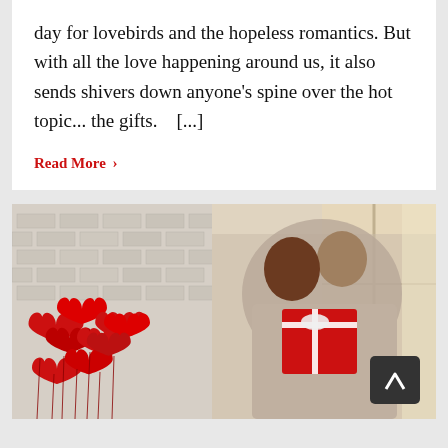day for lovebirds and the hopeless romantics. But with all the love happening around us, it also sends shivers down anyone's spine over the hot topic... the gifts.    [...]
Read More >
[Figure (photo): A couple sharing a romantic moment near a window, the woman holding a red gift box with white ribbon. On the left side, a bunch of red heart-shaped balloons against a white brick wall. A scroll-to-top button is visible in the bottom right.]